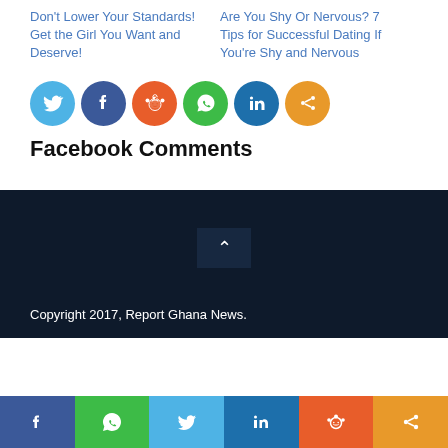Don't Lower Your Standards! Get the Girl You Want and Deserve!
Are You Shy Or Nervous? 7 Tips for Successful Dating If You're Shy and Nervous
[Figure (infographic): Row of six social media share icon circles: Twitter (blue), Facebook (dark blue), Reddit (orange-red), WhatsApp (green), LinkedIn (blue), Share (orange)]
Facebook Comments
[Figure (infographic): Dark navy footer area with a back-to-top arrow button (chevron up) centered]
Copyright 2017, Report Ghana News.
Bottom bar with social share buttons: Facebook, WhatsApp, Twitter, LinkedIn, Reddit, Share